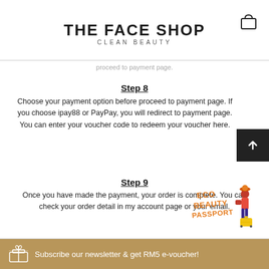THE FACE SHOP
CLEAN BEAUTY
proceed to payment page.
Step 8
Choose your payment option before proceed to payment page. If you choose ipay88 or PayPay, you will redirect to payment page. You can enter your voucher code to redeem your voucher here.
Step 9
Once you have made the payment, your order is complete. You can check your order detail in my account page or your email.
[Figure (illustration): Eco Beauty Passport promotional badge with a cartoon woman figure and yellow suitcase]
Subscribe our newsletter & get RM5 e-voucher!